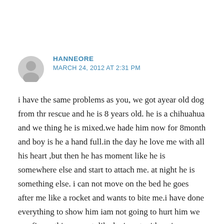HANNEORE
MARCH 24, 2012 AT 2:31 PM
i have the same problems as you, we got ayear old dog from thr rescue and he is 8 years old. he is a chihuahua and we thing he is mixed.we hade him now for 8month and boy is he a hand full.in the day he love me with all his heart ,but then he has moment like he is somewhere else and start to attach me. at night he is something else. i can not move on the bed he goes after me like a rocket and wants to bite me.i have done everything to show him iam not going to hurt him we can figure this one out. like he is not with us in mind.please help me. we hade a dog for 15 years and we never hade this happend to us. we love him and want to keep him and